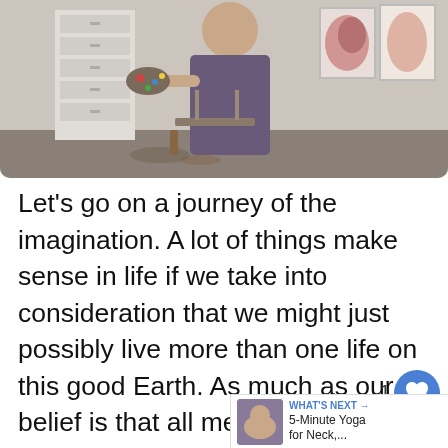[Figure (photo): A painter standing in an art studio holding a paint palette, wearing a paint-stained apron. Art supplies and canvases with floral paintings visible in the background.]
Let's go on a journey of the imagination. A lot of things make sense in life if we take into consideration that we might just possibly live more than one life on this good Earth. As much as our belief is that all men are created equal, that is not actually the case. Just look at us – we are not the same, even identical twins are not the same. We are born with different attribu – some people can sing, some people can compose entire symphonies in their heads some people can write, paint, and st laws of the universe. Where else do we get the